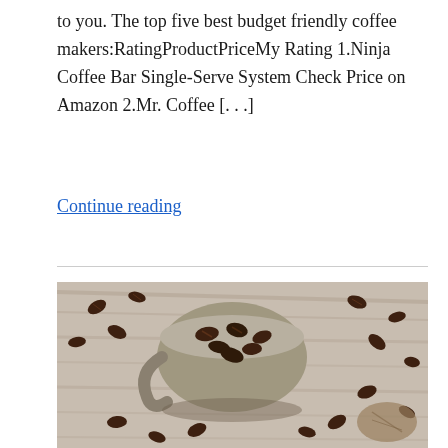to you. The top five best budget friendly coffee makers:RatingProductPriceMy Rating 1.Ninja Coffee Bar Single-Serve System Check Price on Amazon 2.Mr. Coffee [. . .]
Continue reading
[Figure (photo): A rustic metal cup overflowing with dark roasted coffee beans scattered on a wooden surface, shot from above.]